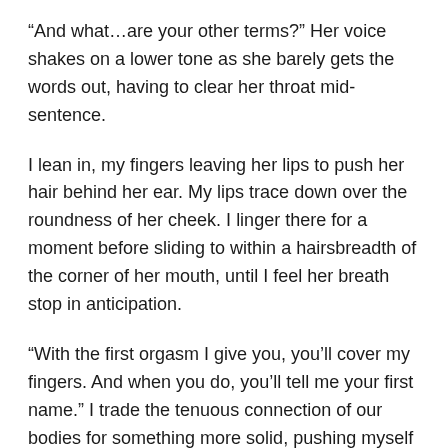“And what…are your other terms?” Her voice shakes on a lower tone as she barely gets the words out, having to clear her throat mid-sentence.
I lean in, my fingers leaving her lips to push her hair behind her ear. My lips trace down over the roundness of her cheek. I linger there for a moment before sliding to within a hairsbreadth of the corner of her mouth, until I feel her breath stop in anticipation.
“With the first orgasm I give you, you’ll cover my fingers. And when you do, you’ll tell me your first name.” I trade the tenuous connection of our bodies for something more solid, pushing myself against her and leaving no doubt what’s about to happen.
My thigh rubs thick and hard against the heat of her cunt as her fingers tighten into forceps around my wrists. Her weight